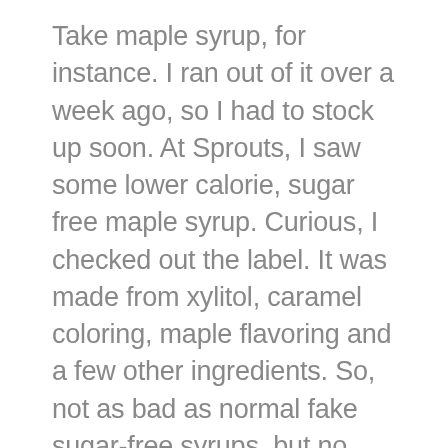Take maple syrup, for instance. I ran out of it over a week ago, so I had to stock up soon. At Sprouts, I saw some lower calorie, sugar free maple syrup. Curious, I checked out the label. It was made from xylitol, caramel coloring, maple flavoring and a few other ingredients. So, not as bad as normal fake sugar-free syrups, but no where near real maple syrup. By real, of course, I mean 100% maple syrup, either grade A or grade B. The good stuff. This xylitol syrup was $4, a relative steal for a maple replacement. But I decided against it, because lately I've been trying to go for the real thing, and not worry as much about the calorie count. As long as it's natural, it's good. So at Whole Foods, I grimaced a little paying $7.99 for a bottle of grade A maple, but it'll be worth it for the rich taste and natural sugar source. And a little goes a long way, so it'll last